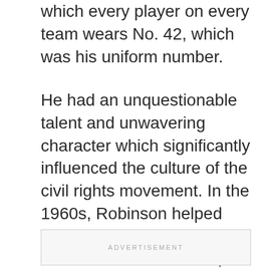which every player on every team wears No. 42, which was his uniform number.
He had an unquestionable talent and unwavering character which significantly influenced the culture of the civil rights movement. In the 1960s, Robinson helped organize and establish the Freedom National Bank, an African-American-owned financial institution based in New York.
ADVERTISEMENT